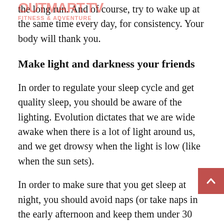the long run. And of course, try to wake up at the same time every day, for consistency. Your body will thank you.
Make light and darkness your friends
In order to regulate your sleep cycle and get quality sleep, you should be aware of the lighting. Evolution dictates that we are wide awake when there is a lot of light around us, and we get drowsy when the light is low (like when the sun sets).
In order to make sure that you get sleep at night, you should avoid naps (or take naps in the early afternoon and keep them under 30 minutes). During the day, try to get in some light in order to naturally energize yourself. Walk outside if you can, try not to wear sunglasses in the morning, and